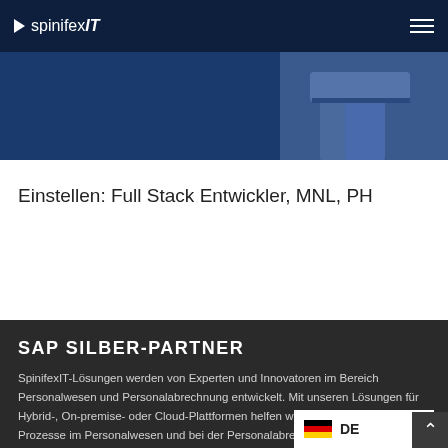spinifexIT
[Figure (photo): Hero image with partial text 'Apply now' overlay and person in jeans sitting, dark blue background]
Einstellen: Full Stack Entwickler, MNL, PH
SAP SILBER-PARTNER
SpinifexIT-Lösungen werden von Experten und Innovatoren im Bereich Personalwesen und Personalabrechnung entwickelt. Mit unseren Lösungen für Hybrid-, On-premise- oder Cloud-Plattformen helfen wir bei der Optimierung der Prozesse im Personalwesen und bei der Personalabrechnung.